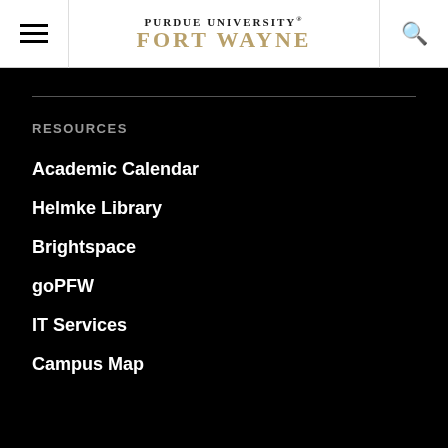PURDUE UNIVERSITY FORT WAYNE
RESOURCES
Academic Calendar
Helmke Library
Brightspace
goPFW
IT Services
Campus Map